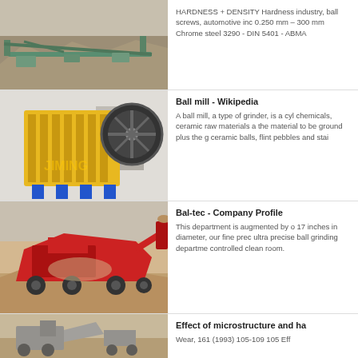[Figure (photo): Aerial view of a mining/quarrying site with heavy machinery and conveyor systems]
HARDNESS + DENSITY Hardness industry, ball screws, automotive inc 0.250 mm – 300 mm Chrome steel 3290 - DIN 5401 - ABMA
[Figure (photo): Yellow jaw crusher machine (JIMING brand) in a factory setting]
Ball mill - Wikipedia
A ball mill, a type of grinder, is a cyl chemicals, ceramic raw materials a the material to be ground plus the g ceramic balls, flint pebbles and stai
[Figure (photo): Red mobile crushing/screening plant operating at a gravel site]
Bal-tec - Company Profile
This department is augmented by o 17 inches in diameter, our fine prec ultra precise ball grinding departme controlled clean room.
[Figure (photo): Construction/mining machinery at work on a site]
Effect of microstructure and ha
Wear, 161 (1993) 105-109 105 Eff